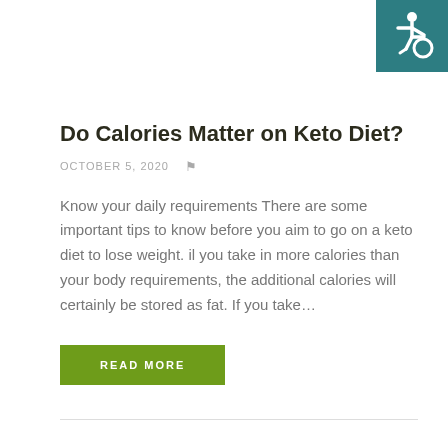[Figure (logo): Accessibility icon (wheelchair symbol) on teal/dark cyan background, top-right corner]
Do Calories Matter on Keto Diet?
OCTOBER 5, 2020
Know your daily requirements There are some important tips to know before you aim to go on a keto diet to lose weight. il you take in more calories than your body requirements, the additional calories will certainly be stored as fat. If you take…
READ MORE